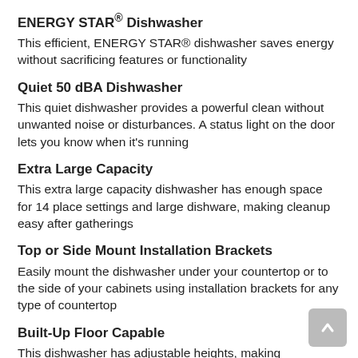ENERGY STAR® Dishwasher
This efficient, ENERGY STAR® dishwasher saves energy without sacrificing features or functionality
Quiet 50 dBA Dishwasher
This quiet dishwasher provides a powerful clean without unwanted noise or disturbances. A status light on the door lets you know when it's running
Extra Large Capacity
This extra large capacity dishwasher has enough space for 14 place settings and large dishware, making cleanup easy after gatherings
Top or Side Mount Installation Brackets
Easily mount the dishwasher under your countertop or to the side of your cabinets using installation brackets for any type of countertop
Built-Up Floor Capable
This dishwasher has adjustable heights, making it easy to install on a built-up floor